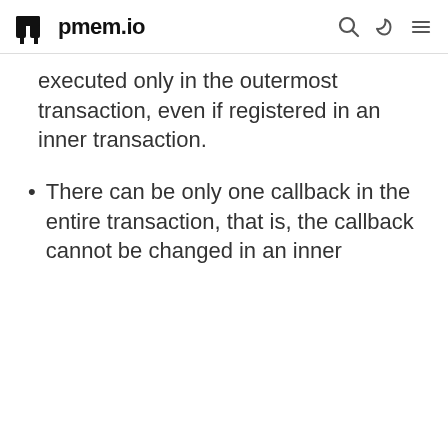pmem.io
executed only in the outermost transaction, even if registered in an inner transaction.
There can be only one callback in the entire transaction, that is, the callback cannot be changed in an inner